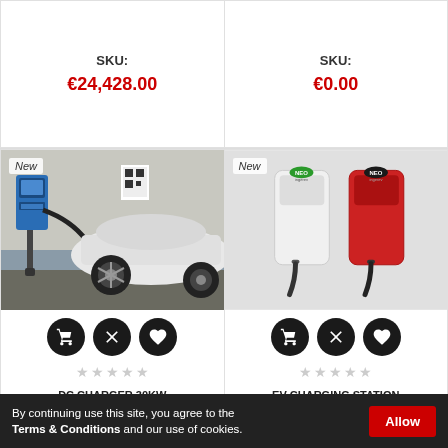SKU:
€24,428.00
SKU:
€0.00
[Figure (photo): Photo of an EV (electric vehicle) charging at a DC wall charger station, labeled 'New']
New
[Figure (photo): Product image of two EV home charging stations (white and red), labeled 'New']
New
DC CHARGER 30KW NORA WALL
SKU:
EV CHARGING STATION INGEREV NEO PRO THREE-PHASE 22KW
SKU:
By continuing use this site, you agree to the Terms & Conditions and our use of cookies.